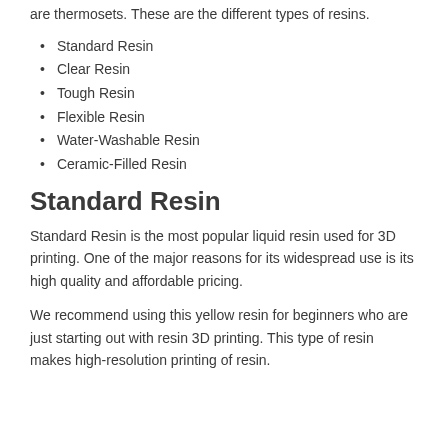are thermosets. These are the different types of resins.
Standard Resin
Clear Resin
Tough Resin
Flexible Resin
Water-Washable Resin
Ceramic-Filled Resin
Standard Resin
Standard Resin is the most popular liquid resin used for 3D printing. One of the major reasons for its widespread use is its high quality and affordable pricing.
We recommend using this yellow resin for beginners who are just starting out with resin 3D printing. This type of resin makes high-resolution printing of resin.